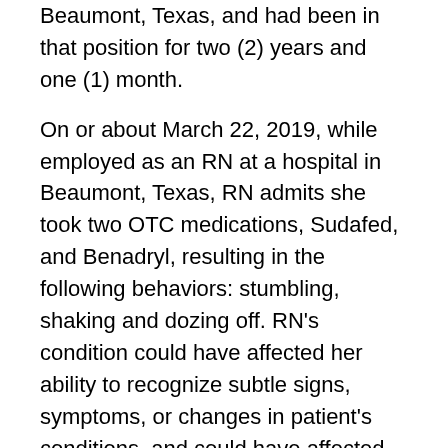Beaumont, Texas, and had been in that position for two (2) years and one (1) month.
On or about March 22, 2019, while employed as an RN at a hospital in Beaumont, Texas, RN admits she took two OTC medications, Sudafed, and Benadryl, resulting in the following behaviors: stumbling, shaking and dozing off. RN's condition could have affected her ability to recognize subtle signs, symptoms, or changes in patient's conditions, and could have affected her ability to make rational, accurate, and appropriate assessments, judgments